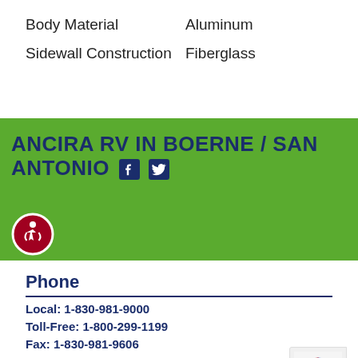Body Material    Aluminum
Sidewall Construction    Fiberglass
ANCIRA RV IN BOERNE / SAN ANTONIO
Phone
Local: 1-830-981-9000
Toll-Free: 1-800-299-1199
Fax: 1-830-981-9606
Address
30500 IH 10 West